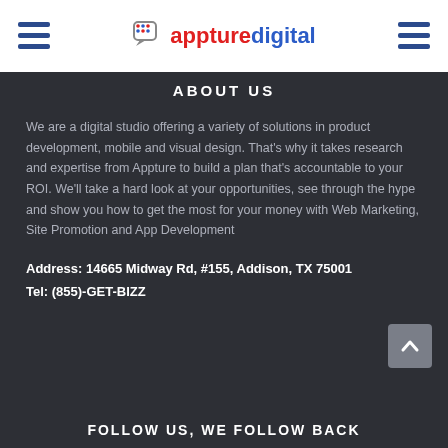[Figure (logo): Appture Digital logo with chat bubble icon, 'appture' in red and 'digital' in blue]
ABOUT US
We are a digital studio offering a variety of solutions in product development, mobile and visual design. That's why it takes research and expertise from Appture to build a plan that's accountable to your ROI. We'll take a hard look at your opportunities, see through the hype and show you how to get the most for your money with Web Marketing, Site Promotion and App Development
Address: 14665 Midway Rd, #155, Addison, TX 75001
Tel: (855)-GET-BIZZ
FOLLOW US, WE FOLLOW BACK